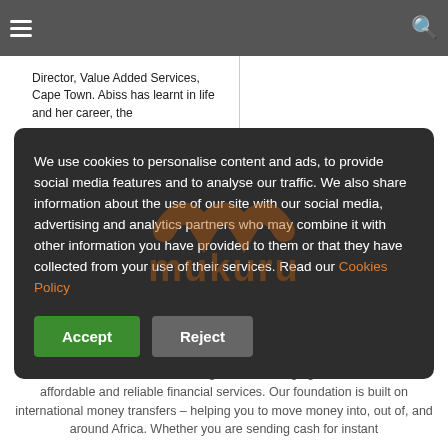Director, Value Added Services, Cape Town. Abiss has learnt in life and her career, the
16 Apr 2021
We use cookies to personalise content and ads, to provide social media features and to analyse our traffic. We also share information about the use of our site with our social media, advertising and analytics partners who may combine it with other information you have provided to them or that they have collected from your use of their services. Read our Cookies Policy
Accept
Reject
Mukuru is a Fintech business that gives the emerging consumer access to affordable and reliable financial services. Our foundation is built on international money transfers – helping you to move money into, out of, and around Africa. Whether you are sending cash for instant